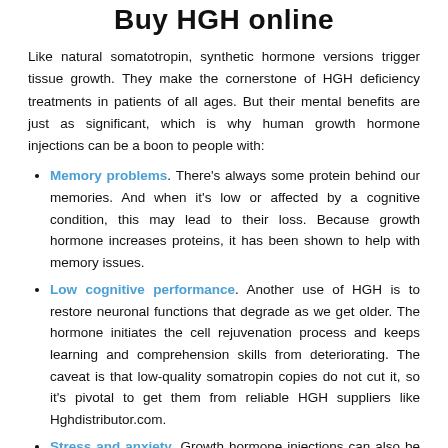Buy HGH online
Like natural somatotropin, synthetic hormone versions trigger tissue growth. They make the cornerstone of HGH deficiency treatments in patients of all ages. But their mental benefits are just as significant, which is why human growth hormone injections can be a boon to people with:
Memory problems. There's always some protein behind our memories. And when it's low or affected by a cognitive condition, this may lead to their loss. Because growth hormone increases proteins, it has been shown to help with memory issues.
Low cognitive performance. Another use of HGH is to restore neuronal functions that degrade as we get older. The hormone initiates the cell rejuvenation process and keeps learning and comprehension skills from deteriorating. The caveat is that low-quality somatropin copies do not cut it, so it's pivotal to get them from reliable HGH suppliers like Hghdistributor.com.
Stress and anxiety. Growth hormone injections can also be used to ramp up beta-endorphins. This makes them on a par with anti-depressants to relieve psychological symptoms and physical discomfort due to extreme stress.